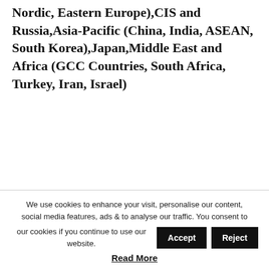Nordic, Eastern Europe),CIS and Russia,Asia-Pacific (China, India, ASEAN, South Korea),Japan,Middle East and Africa (GCC Countries, South Africa, Turkey, Iran, Israel)
We use cookies to enhance your visit, personalise our content, social media features, ads & to analyse our traffic. You consent to our cookies if you continue to use our website.
Read More